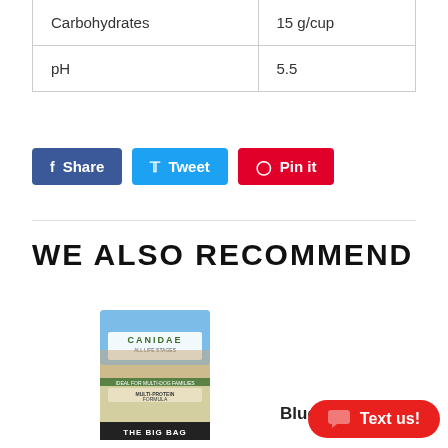| Carbohydrates | 15 g/cup |
| pH | 5.5 |
Share  Tweet  Pin it
WE ALSO RECOMMEND
[Figure (photo): CANIDAE All Life Stages dog food bag - The Big Bag, Ideal for Multi-Dog Families, Multi-Protein Formula]
Blue Buffalo
Text us!